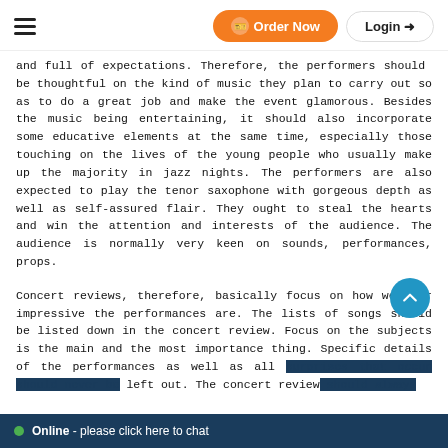Order Now | Login
and full of expectations. Therefore, the performers should be thoughtful on the kind of music they plan to carry out so as to do a great job and make the event glamorous. Besides the music being entertaining, it should also incorporate some educative elements at the same time, especially those touching on the lives of the young people who usually make up the majority in jazz nights. The performers are also expected to play the tenor saxophone with gorgeous depth as well as self-assured flair. They ought to steal the hearts and win the attention and interests of the audience. The audience is normally very keen on sounds, performances, props.
Concert reviews, therefore, basically focus on how well or impressive the performances are. The lists of songs should be listed down in the concert review. Focus on the subjects is the main and the most importance thing. Specific details of the performances as well as all surprises that occur should never be left out. The concert review